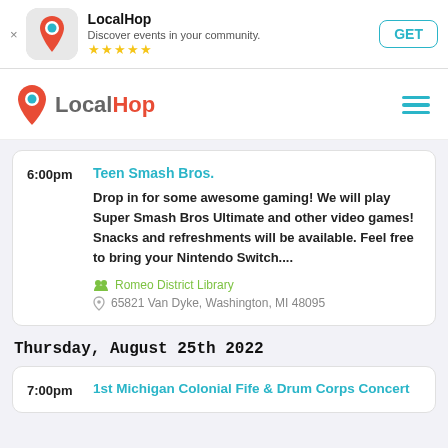[Figure (screenshot): App Store banner ad for LocalHop app with icon, name, description, star rating, and GET button]
LocalHop — Discover events in your community.
[Figure (logo): LocalHop app logo with map pin icon in red/orange and teal dot]
6:00pm — Teen Smash Bros.
Drop in for some awesome gaming! We will play Super Smash Bros Ultimate and other video games! Snacks and refreshments will be available. Feel free to bring your Nintendo Switch....
Romeo District Library
65821 Van Dyke, Washington, MI 48095
Thursday, August 25th 2022
7:00pm — 1st Michigan Colonial Fife & Drum Corps Concert